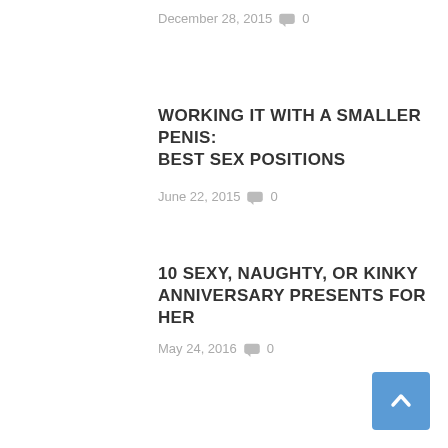December 28, 2015  🗨 0
WORKING IT WITH A SMALLER PENIS: BEST SEX POSITIONS
June 22, 2015  🗨 0
10 SEXY, NAUGHTY, OR KINKY ANNIVERSARY PRESENTS FOR HER
May 24, 2016  🗨 0
[Figure (other): Back to top button - blue square with white upward chevron arrow]